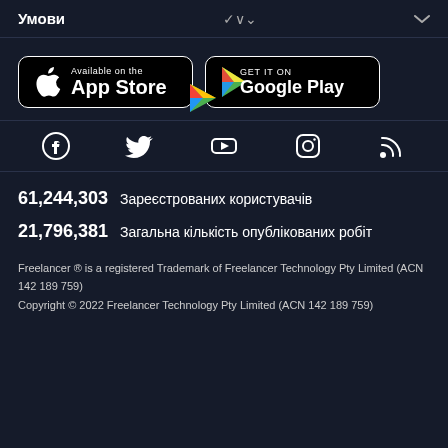Умови
[Figure (logo): App Store button - Available on the App Store with Apple logo]
[Figure (logo): Google Play button - GET IT ON Google Play with Play Store logo]
[Figure (infographic): Social media icons: Facebook, Twitter, YouTube, Instagram, RSS]
61,244,303  Зареєстрованих користувачів
21,796,381  Загальна кількість опублікованих робіт
Freelancer ® is a registered Trademark of Freelancer Technology Pty Limited (ACN 142 189 759)
Copyright © 2022 Freelancer Technology Pty Limited (ACN 142 189 759)